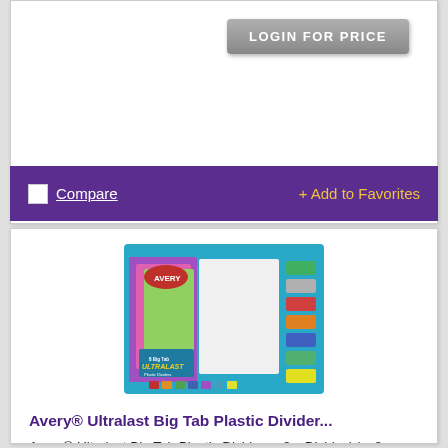[Figure (screenshot): LOGIN FOR PRICE button - grey gradient rectangular button with white text]
[Figure (other): Purple bar with Compare checkbox and Add to Favorites link]
[Figure (photo): Avery Ultralast Big Tab Plastic Dividers product box image showing colorful tabbed dividers]
Avery® Ultralast Big Tab Plastic Divider...
Avery® Ultralast Big Tab Plastic Dividers - 8 x Divider(s) - 8